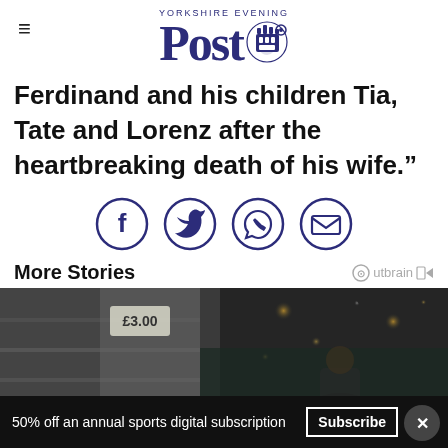Yorkshire Evening Post
Ferdinand and his children Tia, Tate and Lorenz after the heartbreaking death of his wife.”
[Figure (infographic): Social sharing icons: Facebook, Twitter, WhatsApp, Email — each in a dark blue circle outline]
More Stories
[Figure (photo): Photo of a retail/supermarket scene with bokeh lighting, showing a young woman in a store aisle]
50% off an annual sports digital subscription  Subscribe